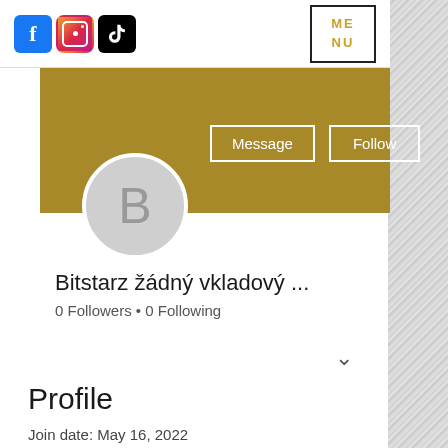[Figure (screenshot): Social media profile page screenshot showing Facebook, Instagram, TikTok icons in top nav, a menu button, gold banner, avatar with letter B, Message and Follow buttons, username 'Bitstarz žádný vkladový ...', 0 Followers • 0 Following, Profile section with Join date: May 16, 2022]
Bitstarz žádný vkladový ...
0 Followers • 0 Following
Profile
Join date: May 16, 2022